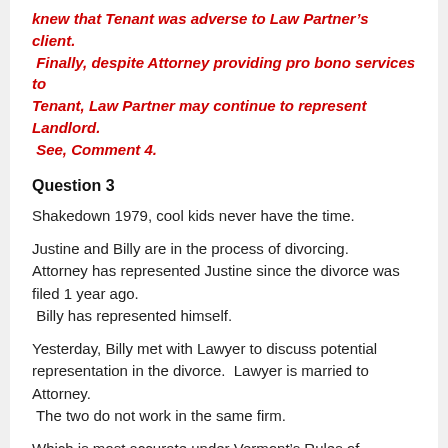knew that Tenant was adverse to Law Partner's client. Finally, despite Attorney providing pro bono services to Tenant, Law Partner may continue to represent Landlord. See, Comment 4.
Question 3
Shakedown 1979, cool kids never have the time.
Justine and Billy are in the process of divorcing.  Attorney has represented Justine since the divorce was filed 1 year ago.  Billy has represented himself.
Yesterday, Billy met with Lawyer to discuss potential representation in the divorce.  Lawyer is married to Attorney.  The two do not work in the same firm.
Which is most accurate under Vermont’s Rules of Professional Conduct?
A.   Lawyer may represent Billy.
B.   Lawyer may represent Billy if Justine agrees to Lawyer’s